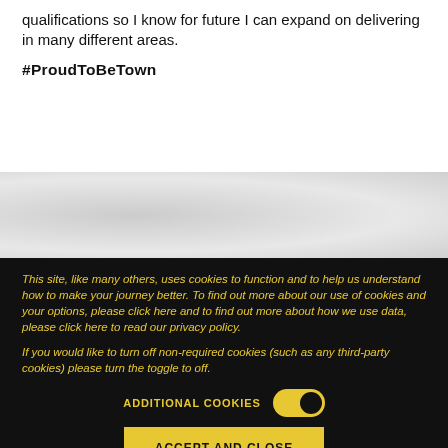qualifications so I know for future I can expand on delivering in many different areas.
#ProudToBeTown
[Figure (photo): Grey textured background section]
This site, like many others, uses cookies to function and to help us understand how to make your journey better. To find out more about our use of cookies and your options, please click here and to find out more about how we use data, please click here to read our privacy policy.
If you would like to turn off non-required cookies (such as any third-party cookies) please turn the toggle to off.
ADDITIONAL COOKIES
ACCEPT AND CLOSE